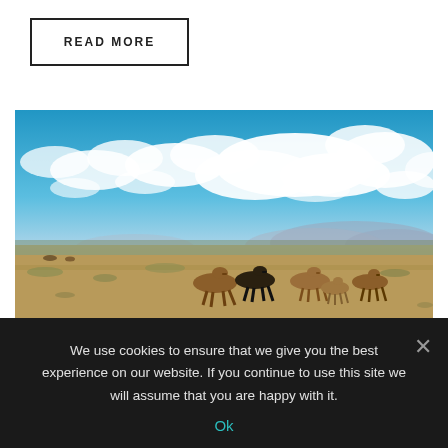READ MORE
[Figure (photo): A herd of wild horses running across a flat desert landscape with sparse shrubs, mountains in the background, and a bright blue sky with large white cumulus clouds.]
We use cookies to ensure that we give you the best experience on our website. If you continue to use this site we will assume that you are happy with it.
Ok